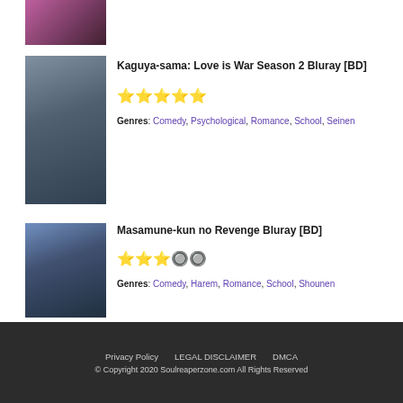[Figure (illustration): Partial anime thumbnail at top of page, cropped]
Kaguya-sama: Love is War Season 2 Bluray [BD]
★★★★★
Genres: Comedy, Psychological, Romance, School, Seinen
[Figure (illustration): Anime cover art for Kaguya-sama: Love is War Season 2]
Masamune-kun no Revenge Bluray [BD]
★★★☆☆
Genres: Comedy, Harem, Romance, School, Shounen
[Figure (illustration): Anime cover art for Masamune-kun no Revenge]
Privacy Policy   LEGAL DISCLAIMER   DMCA
© Copyright 2020 Soulreaperzone.com All Rights Reserved